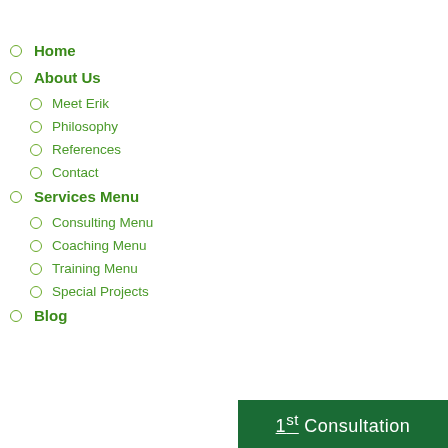Home
About Us
Meet Erik
Philosophy
References
Contact
Services Menu
Consulting Menu
Coaching Menu
Training Menu
Special Projects
Blog
[Figure (other): Green banner with text '1st Consultation']